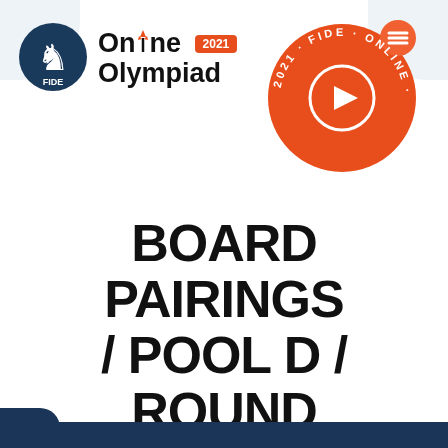[Figure (logo): FIDE Online Olympiad 2021 logo with chess knight icon and red circular badge]
BOARD PAIRINGS / POOL D / ROUND 9